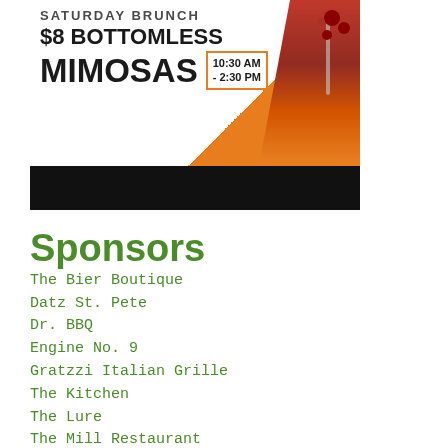[Figure (photo): Saturday Brunch advertisement banner: '$8 BOTTOMLESS MIMOSAS 10:30 AM - 2:30 PM' with orange and black design and photo of mimosa glasses with berries]
Sponsors
The Bier Boutique
Datz St. Pete
Dr. BBQ
Engine No. 9
Gratzzi Italian Grille
The Kitchen
The Lure
The Mill Restaurant
Nash's Hot Chicken
Noble Crust
The Ohio Pizza Parlor
Red Mesa Cantina
Renzo's St. Pete
Rollind Oats